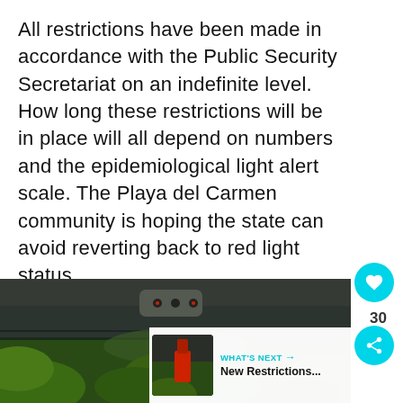All restrictions have been made in accordance with the Public Security Secretariat on an indefinite level. How long these restrictions will be in place will all depend on numbers and the epidemiological light alert scale. The Playa del Carmen community is hoping the state can avoid reverting back to red light status.
[Figure (photo): View from inside a car showing the car interior ceiling/roof with a sensor module, rearview mirror, and tropical green foliage visible through the windshield below.]